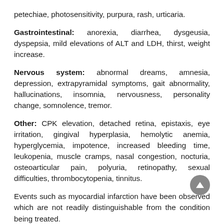petechiae, photosensitivity, purpura, rash, urticaria.
Gastrointestinal: anorexia, diarrhea, dysgeusia, dyspepsia, mild elevations of ALT and LDH, thirst, weight increase.
Nervous system: abnormal dreams, amnesia, depression, extrapyramidal symptoms, gait abnormality, hallucinations, insomnia, nervousness, personality change, somnolence, tremor.
Other: CPK elevation, detached retina, epistaxis, eye irritation, gingival hyperplasia, hemolytic anemia, hyperglycemia, impotence, increased bleeding time, leukopenia, muscle cramps, nasal congestion, nocturia, osteoarticular pain, polyuria, retinopathy, sexual difficulties, thrombocytopenia, tinnitus.
Events such as myocardial infarction have been observed which are not readily distinguishable from the condition being treated.